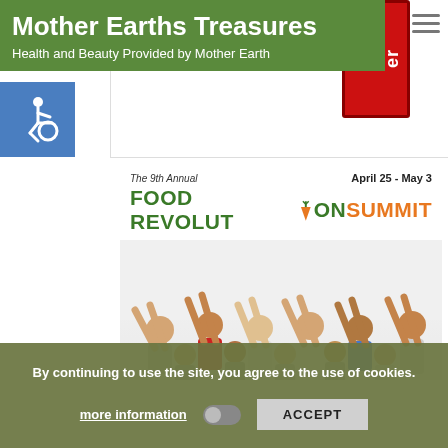Mother Earths Treasures
Health and Beauty Provided by Mother Earth
[Figure (screenshot): Food Revolution Summit banner with text 'The 9th Annual FOOD REVOLUTION SUMMIT April 25 - May 3' and crowd of people with raised fists]
By continuing to use the site, you agree to the use of cookies.
more information   ACCEPT